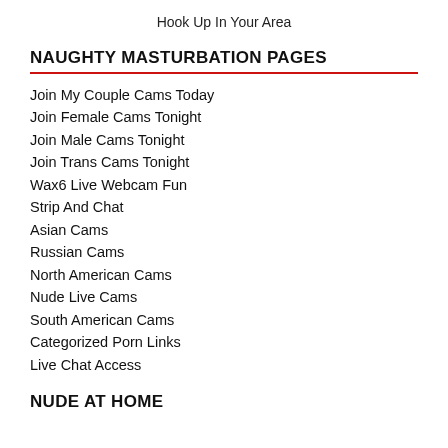Hook Up In Your Area
NAUGHTY MASTURBATION PAGES
Join My Couple Cams Today
Join Female Cams Tonight
Join Male Cams Tonight
Join Trans Cams Tonight
Wax6 Live Webcam Fun
Strip And Chat
Asian Cams
Russian Cams
North American Cams
Nude Live Cams
South American Cams
Categorized Porn Links
Live Chat Access
NUDE AT HOME